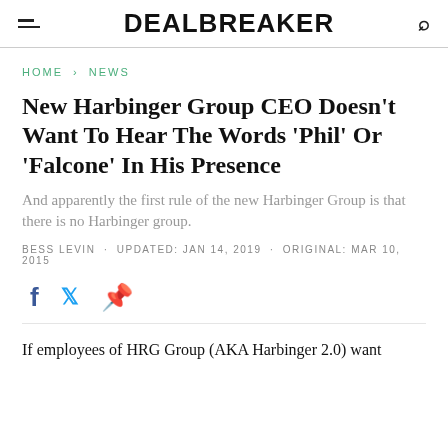DEALBREAKER
HOME > NEWS
New Harbinger Group CEO Doesn't Want To Hear The Words 'Phil' Or 'Falcone' In His Presence
And apparently the first rule of the new Harbinger Group is that there is no Harbinger group.
BESS LEVIN · UPDATED: JAN 14, 2019 · ORIGINAL: MAR 10, 2015
If employees of HRG Group (AKA Harbinger 2.0) want